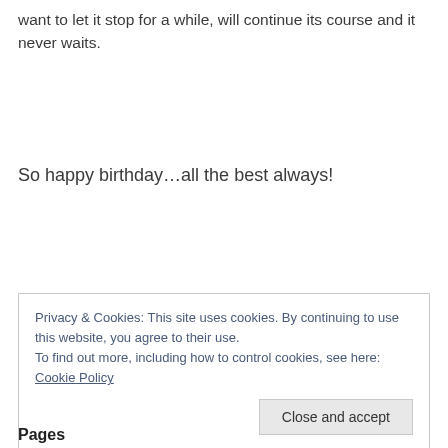want to let it stop for a while, will continue its course and it never waits.
So happy birthday…all the best always!
Privacy & Cookies: This site uses cookies. By continuing to use this website, you agree to their use.
To find out more, including how to control cookies, see here: Cookie Policy
Close and accept
Pages